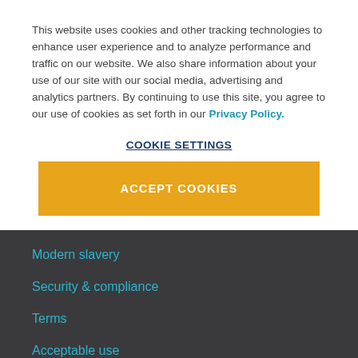This website uses cookies and other tracking technologies to enhance user experience and to analyze performance and traffic on our website. We also share information about your use of our site with our social media, advertising and analytics partners. By continuing to use this site, you agree to our use of cookies as set forth in our Privacy Policy.
COOKIE SETTINGS
ACCEPT COOKIES
Modern slavery
Security & compliance
Terms
Acceptable use
Privacy